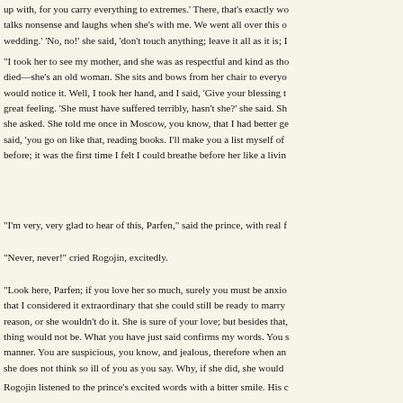up with, for you carry everything to extremes.' There, that's exactly wo talks nonsense and laughs when she's with me. We went all over this o wedding.' 'No, no!' she said, 'don't touch anything; leave it all as it is; I
"I took her to see my mother, and she was as respectful and kind as tho died—she's an old woman. She sits and bows from her chair to everyo would notice it. Well, I took her hand, and I said, 'Give your blessing t great feeling. 'She must have suffered terribly, hasn't she?' she said. Sh she asked. She told me once in Moscow, you know, that I had better ge said, 'you go on like that, reading books. I'll make you a list myself of before; it was the first time I felt I could breathe before her like a livin
"I'm very, very glad to hear of this, Parfen," said the prince, with real f
"Never, never!" cried Rogojin, excitedly.
"Look here, Parfen; if you love her so much, surely you must be anxio that I considered it extraordinary that she could still be ready to marry reason, or she wouldn't do it. She is sure of your love; but besides that, thing would not be. What you have just said confirms my words. You s manner. You are suspicious, you know, and jealous, therefore when an she does not think so ill of you as you say. Why, if she did, she would when she married you. It is impossible! As if anybody would go to the
Rogojin listened to the prince's excited words with a bitter smile. His c